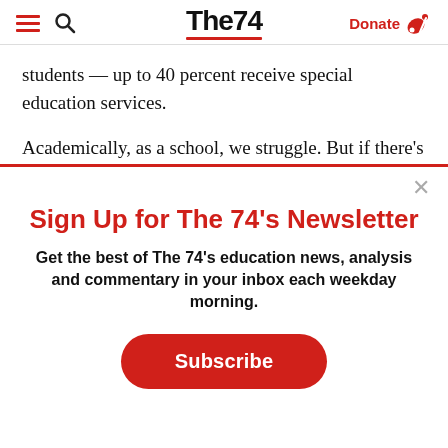The74 | Donate
students — up to 40 percent receive special education services.
Academically, as a school, we struggle. But if there's
Sign Up for The 74's Newsletter
Get the best of The 74's education news, analysis and commentary in your inbox each weekday morning.
Subscribe